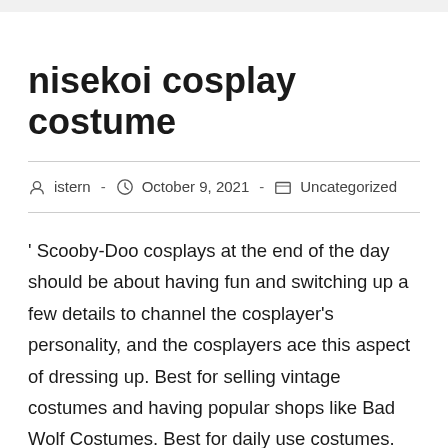nisekoi cosplay costume
istern  -  October 9, 2021  -  Uncategorized
' Scooby-Doo cosplays at the end of the day should be about having fun and switching up a few details to channel the cosplayer's personality, and the cosplayers ace this aspect of dressing up. Best for selling vintage costumes and having popular shops like Bad Wolf Costumes. Best for daily use costumes. Lessen your haughtiness, arrogance and bitterness when you face challenges in your daily routine. When thinking of buying stuff, do not forget your favorite online superstore Amazon, even if it's about cosplay costume. And the truth is that Amazon's a good place to shop for supplies to create your own